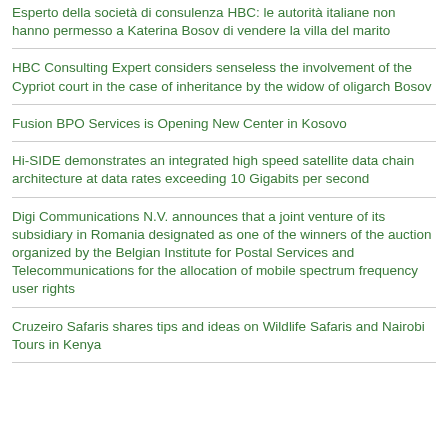Esperto della società di consulenza HBC: le autorità italiane non hanno permesso a Katerina Bosov di vendere la villa del marito
HBC Consulting Expert considers senseless the involvement of the Cypriot court in the case of inheritance by the widow of oligarch Bosov
Fusion BPO Services is Opening New Center in Kosovo
Hi-SIDE demonstrates an integrated high speed satellite data chain architecture at data rates exceeding 10 Gigabits per second
Digi Communications N.V. announces that a joint venture of its subsidiary in Romania designated as one of the winners of the auction organized by the Belgian Institute for Postal Services and Telecommunications for the allocation of mobile spectrum frequency user rights
Cruzeiro Safaris shares tips and ideas on Wildlife Safaris and Nairobi Tours in Kenya